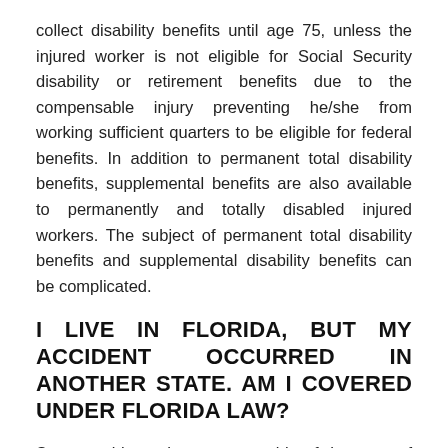collect disability benefits until age 75, unless the injured worker is not eligible for Social Security disability or retirement benefits due to the compensable injury preventing he/she from working sufficient quarters to be eligible for federal benefits. In addition to permanent total disability benefits, supplemental benefits are also available to permanently and totally disabled injured workers. The subject of permanent total disability benefits and supplemental disability benefits can be complicated.
I LIVE IN FLORIDA, BUT MY ACCIDENT OCCURRED IN ANOTHER STATE. AM I COVERED UNDER FLORIDA LAW?
Some accidents that occur outside of the state of Florida may be covered under Florida Law. The test for whether an out of state accident will be covered under Florida